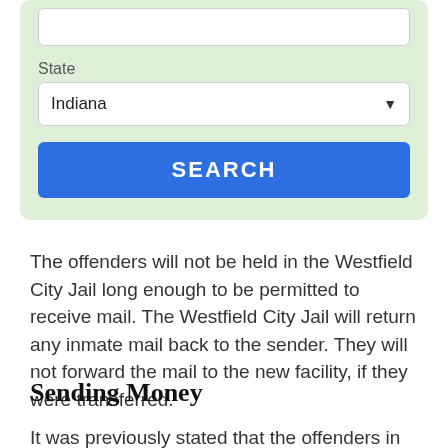[Figure (screenshot): A light green form panel with a white text input box at the top, a 'State' label with an 'Indiana' dropdown selector, and a blue 'SEARCH' button.]
The offenders will not be held in the Westfield City Jail long enough to be permitted to receive mail. The Westfield City Jail will return any inmate mail back to the sender. They will not forward the mail to the new facility, if they were transferred.
Sending Money
It was previously stated that the offenders in the